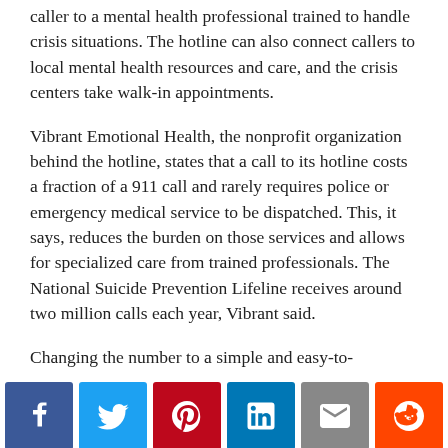caller to a mental health professional trained to handle crisis situations. The hotline can also connect callers to local mental health resources and care, and the crisis centers take walk-in appointments.
Vibrant Emotional Health, the nonprofit organization behind the hotline, states that a call to its hotline costs a fraction of a 911 call and rarely requires police or emergency medical service to be dispatched. This, it says, reduces the burden on those services and allows for specialized care from trained professionals. The National Suicide Prevention Lifeline receives around two million calls each year, Vibrant said.
Changing the number to a simple and easy-to-
[Figure (infographic): Social media sharing buttons: Facebook (blue), Twitter (light blue), Pinterest (red), LinkedIn (dark blue), Email (gray), Reddit (orange)]